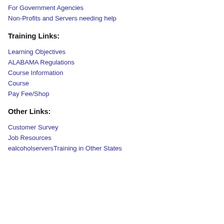For Government Agencies
Non-Profits and Servers needing help
Training Links:
Learning Objectives
ALABAMA Regulations
Course Information
Course
Pay Fee/Shop
Other Links:
Customer Survey
Job Resources
ealcoholserversTraining in Other States